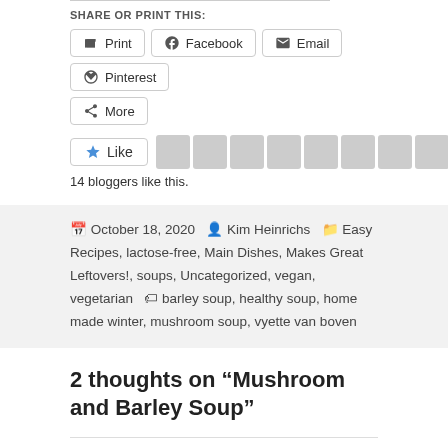SHARE OR PRINT THIS:
Print  Facebook  Email  Pinterest  More
[Figure (other): Like button with star icon and 9 blogger avatar thumbnails]
14 bloggers like this.
October 18, 2020  Kim Heinrichs  Easy Recipes, lactose-free, Main Dishes, Makes Great Leftovers!, soups, Uncategorized, vegan, vegetarian  barley soup, healthy soup, home made winter, mushroom soup, vyette van boven
2 thoughts on “Mushroom and Barley Soup”